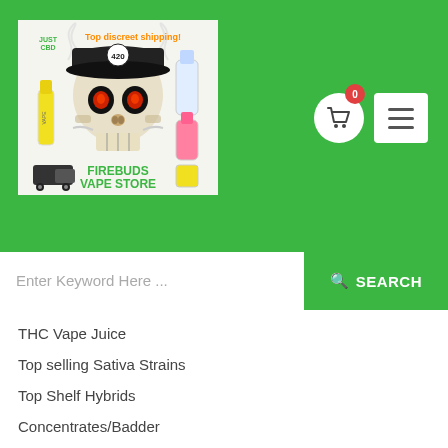[Figure (screenshot): Firebuds Vape Store website header with skull wearing a 420 cap, vape product bottles, text 'Top discreet shipping' in orange, and 'FIREBUDS VAPE STORE' in green. Shopping cart button with badge showing 0, and hamburger menu button.]
Enter Keyword Here ...
SEARCH
THC Vape Juice
Top selling Sativa Strains
Top Shelf Hybrids
Concentrates/Badder
SHROOMS